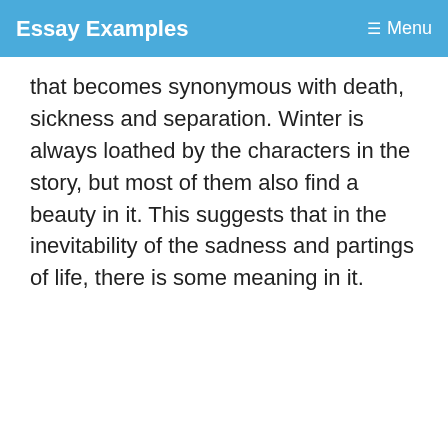Essay Examples   Menu
that becomes synonymous with death, sickness and separation. Winter is always loathed by the characters in the story, but most of them also find a beauty in it. This suggests that in the inevitability of the sadness and partings of life, there is some meaning in it.